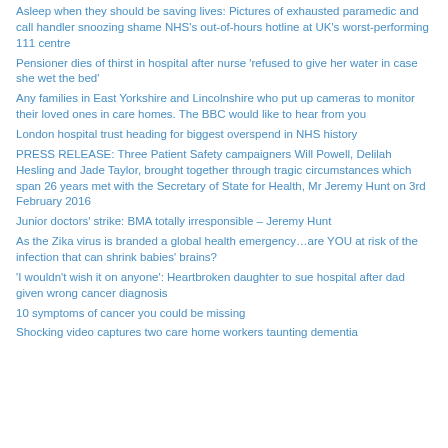Asleep when they should be saving lives: Pictures of exhausted paramedic and call handler snoozing shame NHS's out-of-hours hotline at UK's worst-performing 111 centre
Pensioner dies of thirst in hospital after nurse 'refused to give her water in case she wet the bed'
Any families in East Yorkshire and Lincolnshire who put up cameras to monitor their loved ones in care homes. The BBC would like to hear from you
London hospital trust heading for biggest overspend in NHS history
PRESS RELEASE: Three Patient Safety campaigners Will Powell, Delilah Hesling and Jade Taylor, brought together through tragic circumstances which span 26 years met with the Secretary of State for Health, Mr Jeremy Hunt on 3rd February 2016
Junior doctors' strike: BMA totally irresponsible – Jeremy Hunt
As the Zika virus is branded a global health emergency…are YOU at risk of the infection that can shrink babies' brains?
'I wouldn't wish it on anyone': Heartbroken daughter to sue hospital after dad given wrong cancer diagnosis
10 symptoms of cancer you could be missing
Shocking video captures two care home workers taunting dementia